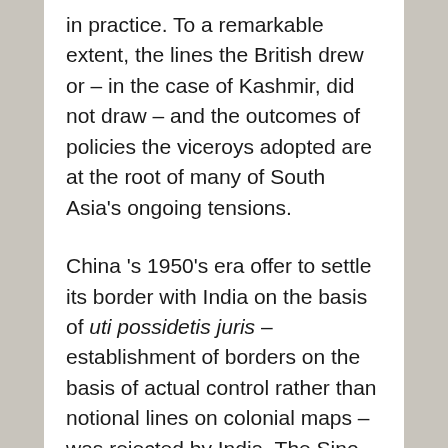in practice.  To a remarkable extent, the lines the British drew or – in the case of Kashmir, did not draw – and the outcomes of policies the viceroys adopted are at the root of many of South Asia's ongoing tensions.
China 's 1950's era offer to settle its border with India on the basis of uti possidetis juris – establishment of borders on the basis of actual control rather than notional lines on colonial maps – was rejected by India.  The Sino-Indian war of 1962 reestablished the line of actual control earlier fixed by China, but also gave rise to a related territorial